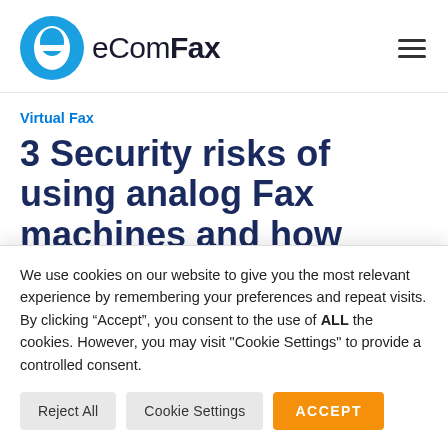[Figure (logo): eComFax logo: blue circular icon with letter e and stylized horizontal line, followed by text 'eCom' in black regular weight and 'Fax' in bold black]
Virtual Fax
3 Security risks of using analog Fax machines and how
We use cookies on our website to give you the most relevant experience by remembering your preferences and repeat visits. By clicking “Accept”, you consent to the use of ALL the cookies. However, you may visit "Cookie Settings" to provide a controlled consent.